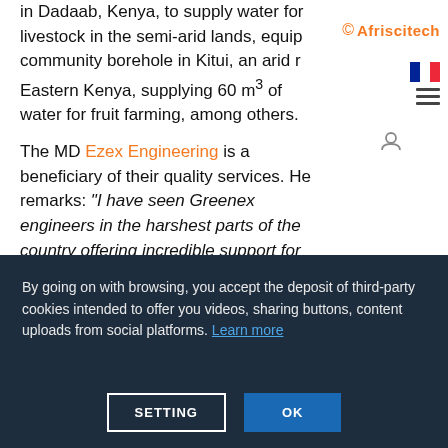Afriscitech
in Dadaab, Kenya, to supply water for livestock in the semi-arid lands, equip community borehole in Kitui, an arid r Eastern Kenya, supplying 60 m³ of water for fruit farming, among others.
The MD Ezex Engineering is a beneficiary of their quality services. He remarks: "I have seen Greenex engineers in the harshest parts of the country offering incredible support for various communities devising life-saving
By going on with browsing, you accept the deposit of third-party cookies intended to offer you videos, sharing buttons, content uploads from social platforms. Learn more
SETTING
OK